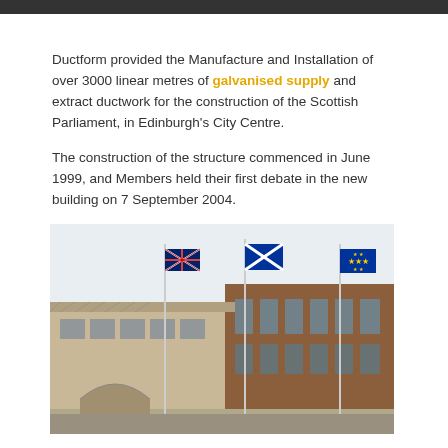Ductform provided the Manufacture and Installation of over 3000 linear metres of galvanised supply and extract ductwork for the construction of the Scottish Parliament, in Edinburgh's City Centre.
The construction of the structure commenced in June 1999, and Members held their first debate in the new building on 7 September 2004.
[Figure (photo): Photograph of the Scottish Parliament building in Edinburgh, showing the distinctive modern architecture with flags including the Union Jack, Scottish Saltire, and EU flag on flagpoles in front of the building.]